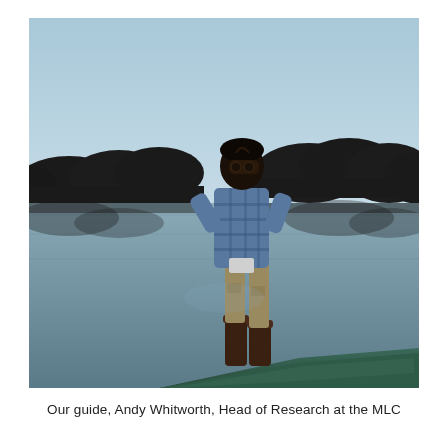[Figure (photo): A person standing on the bow of a boat on a calm lake or river, looking through binoculars. The person is wearing a plaid shirt, khaki cargo pants, and tall rubber boots. Dense tropical forest is silhouetted in the background against a pale sky. The scene is taken at dusk or dawn with muted, cool tones.]
Our guide, Andy Whitworth, Head of Research at the MLC